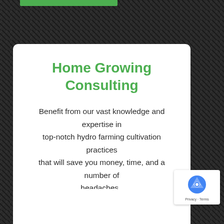[Figure (photo): Dark textured background resembling gravel or aggregate material with low lighting]
Home Growing Consulting
Benefit from our vast knowledge and expertise in top-notch hydro farming cultivation practices that will save you money, time, and a number of headaches .
Read More →